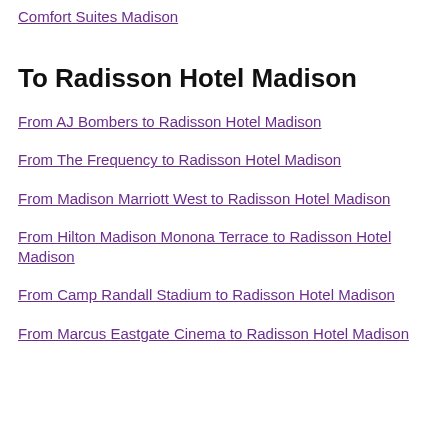Comfort Suites Madison
To Radisson Hotel Madison
From AJ Bombers to Radisson Hotel Madison
From The Frequency to Radisson Hotel Madison
From Madison Marriott West to Radisson Hotel Madison
From Hilton Madison Monona Terrace to Radisson Hotel Madison
From Camp Randall Stadium to Radisson Hotel Madison
From Marcus Eastgate Cinema to Radisson Hotel Madison